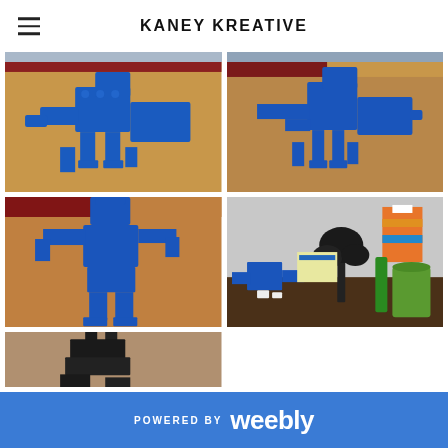KANEY KREATIVE
[Figure (photo): Partial top strip showing cropped photos of LEGO blue robot creature builds]
[Figure (photo): Blue LEGO robot/creature figure, front view, on wooden floor with red couch behind]
[Figure (photo): Blue LEGO robot/creature figure, side view showing detail, on wooden floor]
[Figure (photo): Blue LEGO robot/creature figure, upright standing pose, on wooden floor]
[Figure (photo): Mixed blue and black LEGO builds on a desk with various items in background]
[Figure (photo): Partially visible black LEGO builds, cropped at bottom]
POWERED BY weebly